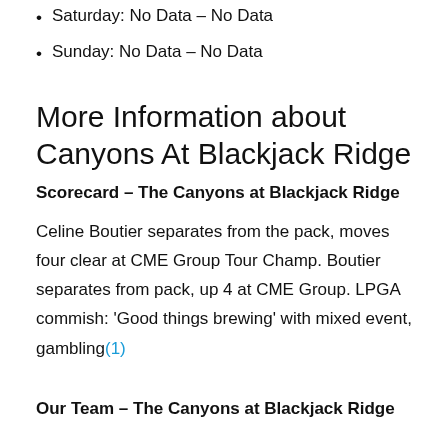Saturday: No Data – No Data
Sunday: No Data – No Data
More Information about Canyons At Blackjack Ridge
Scorecard – The Canyons at Blackjack Ridge
Celine Boutier separates from the pack, moves four clear at CME Group Tour Champ. Boutier separates from pack, up 4 at CME Group. LPGA commish: 'Good things brewing' with mixed event, gambling(1)
Our Team – The Canyons at Blackjack Ridge